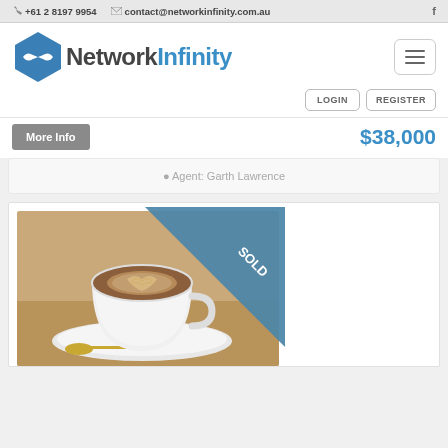+61 2 8197 9954   contact@networkinfinity.com.au
[Figure (logo): Network Infinity logo — blue hexagon with infinity symbol and dark text 'NetworkInfinity']
LOGIN   REGISTER
More Info   $38,000
Agent: Garth Lawrence
[Figure (photo): Cappuccino coffee in a white cup and saucer with a spoon, with a blue 'SOLD' diagonal ribbon banner overlaid on the top-right corner of the image]